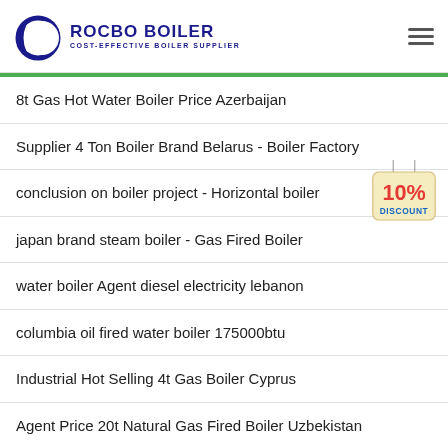ROCBO BOILER — COST-EFFECTIVE BOILER SUPPLIER
8t Gas Hot Water Boiler Price Azerbaijan
Supplier 4 Ton Boiler Brand Belarus - Boiler Factory
conclusion on boiler project - Horizontal boiler
japan brand steam boiler - Gas Fired Boiler
water boiler Agent diesel electricity lebanon
columbia oil fired water boiler 175000btu
Industrial Hot Selling 4t Gas Boiler Cyprus
Agent Price 20t Natural Gas Fired Boiler Uzbekistan
6 Ton Industrial Boiler Price Boiler Oil Fired